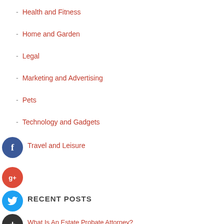- Health and Fitness
- Home and Garden
- Legal
- Marketing and Advertising
- Pets
- Technology and Gadgets
- Travel and Leisure
RECENT POSTS
What Is An Estate Probate Attorney?
Benefits Of Food Truck Decals